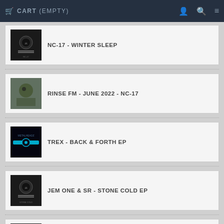CART (EMPTY)
NC-17 - WINTER SLEEP
RINSE FM - JUNE 2022 - NC-17
TREX - BACK & FORTH EP
JEM ONE & SR - STONE COLD EP
25 YEARS OF METALHEADZ - PART 5